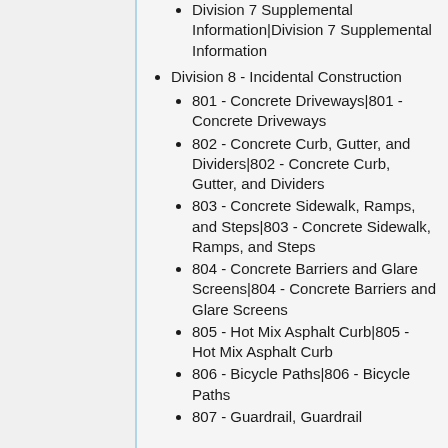Division 7 Supplemental Information|Division 7 Supplemental Information
Division 8 - Incidental Construction
801 - Concrete Driveways|801 - Concrete Driveways
802 - Concrete Curb, Gutter, and Dividers|802 - Concrete Curb, Gutter, and Dividers
803 - Concrete Sidewalk, Ramps, and Steps|803 - Concrete Sidewalk, Ramps, and Steps
804 - Concrete Barriers and Glare Screens|804 - Concrete Barriers and Glare Screens
805 - Hot Mix Asphalt Curb|805 - Hot Mix Asphalt Curb
806 - Bicycle Paths|806 - Bicycle Paths
807 - Guardrail, Guardrail